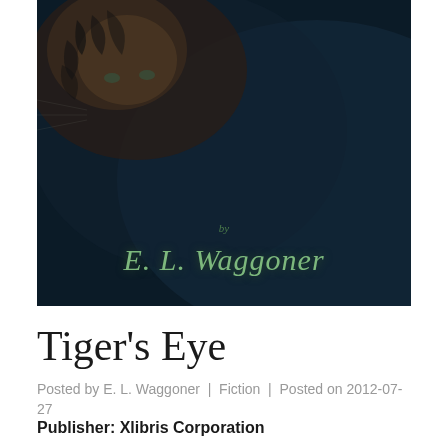[Figure (illustration): Book cover for 'Tiger's Eye' by E.L. Waggoner. Dark, moody cover showing a tiger's face emerging from shadows in the upper left, with a dark blue-black background. Author name 'by E.L. Waggoner' written in green script/italic text across the lower portion of the cover.]
Tiger's Eye
Posted by E. L. Waggoner | Fiction | Posted on 2012-07-27
Publisher: Xlibris Corporation